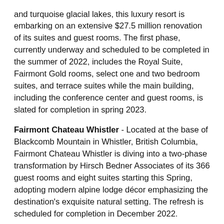and turquoise glacial lakes, this luxury resort is embarking on an extensive $27.5 million renovation of its suites and guest rooms. The first phase, currently underway and scheduled to be completed in the summer of 2022, includes the Royal Suite, Fairmont Gold rooms, select one and two bedroom suites, and terrace suites while the main building, including the conference center and guest rooms, is slated for completion in spring 2023.
Fairmont Chateau Whistler - Located at the base of Blackcomb Mountain in Whistler, British Columbia, Fairmont Chateau Whistler is diving into a two-phase transformation by Hirsch Bedner Associates of its 366 guest rooms and eight suites starting this Spring, adopting modern alpine lodge décor emphasizing the destination's exquisite natural setting. The refresh is scheduled for completion in December 2022.
Fairmont Le Château Frontenac - One of the world's most photographed hotels is giving travelers another reason to snap away. Standing tall over the Saint Lawrence River in Quebec, Fairmont Le Château Frontenac has officially completed an eight year, multi-million dollar revitalization